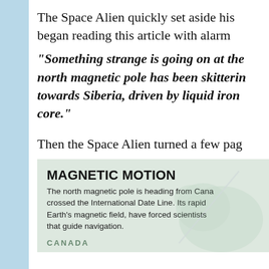The Space Alien quickly set aside his amusement and began reading this article with alarm:
"Something strange is going on at the north magnetic pole has been skittering towards Siberia, driven by liquid iron in Earth's core."
Then the Space Alien turned a few pages to:
[Figure (infographic): Infographic titled 'MAGNETIC MOTION' with text: The north magnetic pole is heading from Canada and has crossed the International Date Line. Its rapid movement, and changes in Earth's magnetic field, have forced scientists to update models that guide navigation. Background shows a map with CANADA label.]